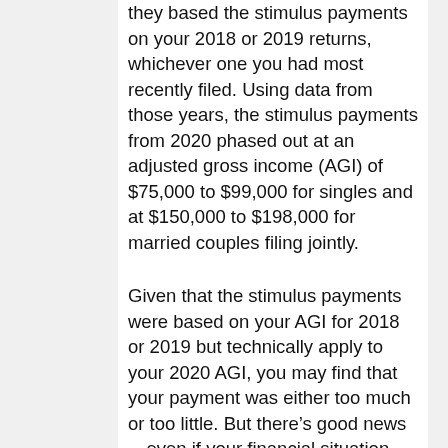they based the stimulus payments on your 2018 or 2019 returns, whichever one you had most recently filed. Using data from those years, the stimulus payments from 2020 phased out at an adjusted gross income (AGI) of $75,000 to $99,000 for singles and at $150,000 to $198,000 for married couples filing jointly.
Given that the stimulus payments were based on your AGI for 2018 or 2019 but technically apply to your 2020 AGI, you may find that your payment was either too much or too little. But there's good news—even if your financial situation has improved since 2018 or 2019 and